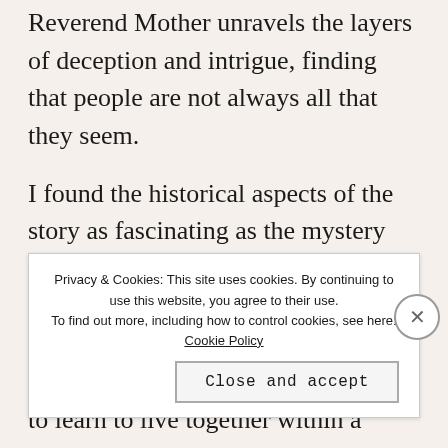Reverend Mother unravels the layers of deception and intrigue, finding that people are not always all that they seem.
I found the historical aspects of the story as fascinating as the mystery itself. The author gave a very interesting insight into Irish society after the civil war . Once they were a free state, the two communities had to learn to live together within a different power dynamic. The Anglo Irish were no longer in power and...
Privacy & Cookies: This site uses cookies. By continuing to use this website, you agree to their use. To find out more, including how to control cookies, see here: Cookie Policy
Close and accept